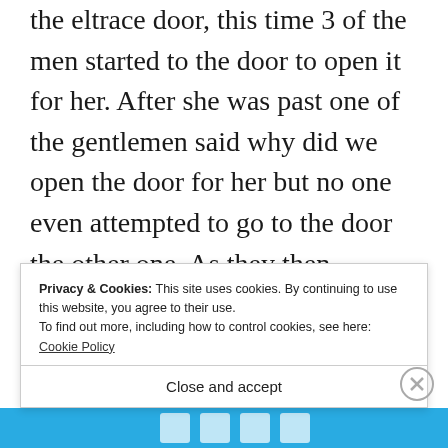the eltrace door, this time 3 of the men started to the door to open it for her. After she was past one of the gentlemen said why did we open the door for her but no one even attempted to go to the door the other one. As they then discussed it they said respect I guess, then we had to decide why the respect. It was decided that the second one always dresses like a lady. No short
Privacy & Cookies: This site uses cookies. By continuing to use this website, you agree to their use.
To find out more, including how to control cookies, see here:
Cookie Policy
Close and accept